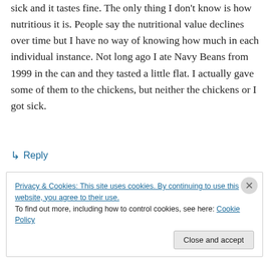sick and it tastes fine. The only thing I don't know is how nutritious it is. People say the nutritional value declines over time but I have no way of knowing how much in each individual instance. Not long ago I ate Navy Beans from 1999 in the can and they tasted a little flat. I actually gave some of them to the chickens, but neither the chickens or I got sick.
↳ Reply
Privacy & Cookies: This site uses cookies. By continuing to use this website, you agree to their use. To find out more, including how to control cookies, see here: Cookie Policy